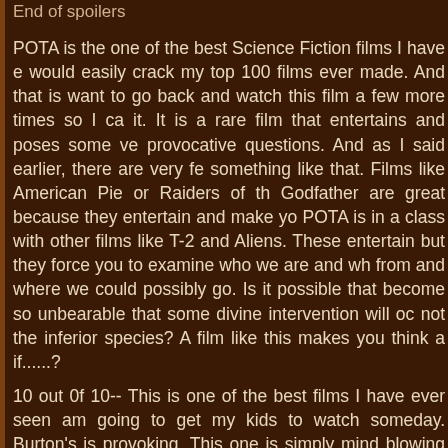End of spoilers
POTA is the one of the best Science Fiction films I have ever seen. It would easily crack my top 100 films ever made. And that is saying a lot. I want to go back and watch this film a few more times so I can fully absorb it. It is a rare film that entertains and poses some very thought provocative questions. And as I said earlier, there are very few films that do something like that. Films like American Pie or Raiders of the Lost Ark or Godfather are great because they entertain and make you feel good. But POTA is in a class with other films like T-2 and Aliens. These films not only entertain but they force you to examine who we are and where we came from and where we could possibly go. Is it possible that mankind could become so unbearable that some divine intervention will occur and make us not the inferior species? A film like this makes you think about the what if......?
10 out 0f 10-- This is one of the best films I have ever seen and I am going to get my kids to watch someday. Burton's is simply thought provoking. This one is simply mind blowing and intellectually stimulating.
Review by Dan Grant from the Internet Movie Database.